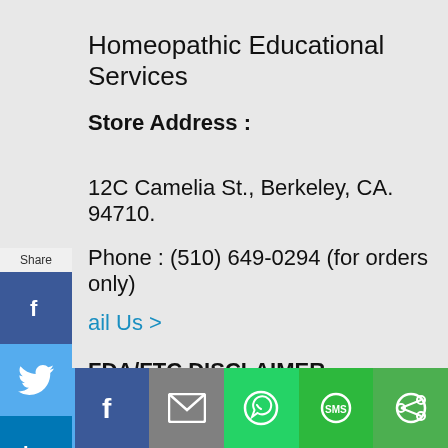Homeopathic Educational Services
Store Address :
12C Camelia St., Berkeley, CA. 94710.
Phone : (510) 649-0294 (for orders only)
Email Us >
FDA/FTC DISCLAIMER STATEMENT: Claims
[Figure (screenshot): Social share sidebar with Share label and buttons: Facebook (blue), Twitter (light blue), LinkedIn (dark blue), Email (gray), ShareThis (green), Pinterest (red)]
[Figure (screenshot): Bottom share bar with Twitter, Facebook, Email, WhatsApp, SMS, and More buttons]